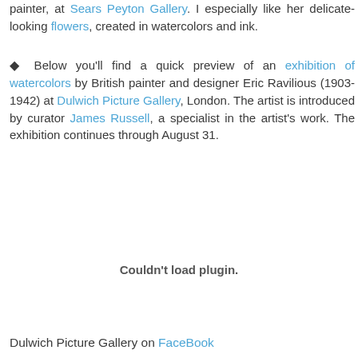painter, at Sears Peyton Gallery. I especially like her delicate-looking flowers, created in watercolors and ink.
◆ Below you'll find a quick preview of an exhibition of watercolors by British painter and designer Eric Ravilious (1903-1942) at Dulwich Picture Gallery, London. The artist is introduced by curator James Russell, a specialist in the artist's work. The exhibition continues through August 31.
[Figure (other): Plugin embed area showing 'Couldn't load plugin.' message]
Dulwich Picture Gallery on FaceBook